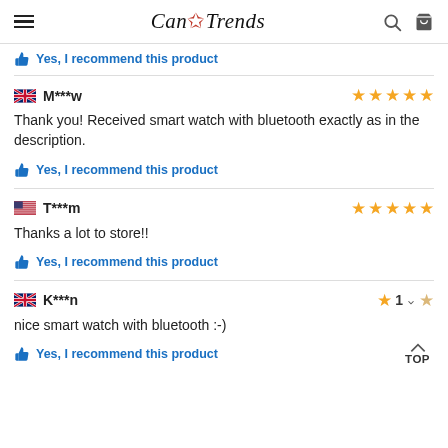CanTrends
Yes, I recommend this product
M***w — 5 stars
Thank you! Received smart watch with bluetooth exactly as in the description.
Yes, I recommend this product
T***m — 5 stars
Thanks a lot to store!!
Yes, I recommend this product
K***n — 1 star
nice smart watch with bluetooth :-)
Yes, I recommend this product